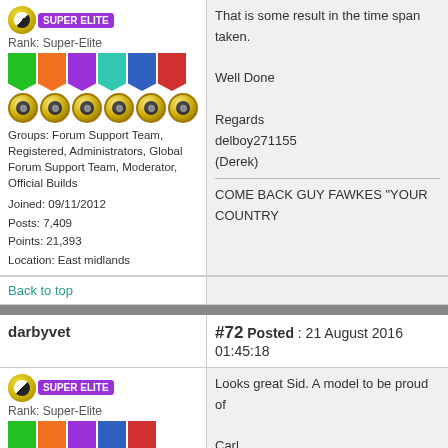That is some result in the time span taken.

Well Done

Regards
delboy271155
(Derek)

COME BACK GUY FAWKES "YOUR COUNTRY
Rank: Super-Elite
Groups: Forum Support Team, Registered, Administrators, Global Forum Support Team, Moderator, Official Builds
Joined: 09/11/2012
Posts: 7,409
Points: 21,393
Location: East midlands
Back to top
darbyvet
#72 Posted : 21 August 2016 01:45:18
Looks great Sid. A model to be proud of

Carl
Rank: Super-Elite
Groups: Moderator, Tech Support, Technical Support, Registered, Forum Support Team, Forum Support USA